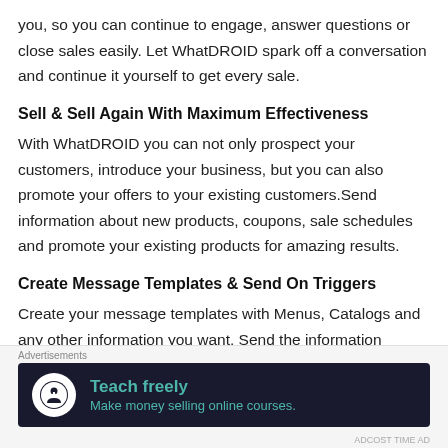you, so you can continue to engage, answer questions or close sales easily. Let WhatDROID spark off a conversation and continue it yourself to get every sale.
Sell & Sell Again With Maximum Effectiveness
With WhatDROID you can not only prospect your customers, introduce your business, but you can also promote your offers to your existing customers.Send information about new products, coupons, sale schedules and promote your existing products for amazing results.
Create Message Templates & Send On Triggers
Create your message templates with Menus, Catalogs and any other information you want. Send the information
Advertisements
[Figure (screenshot): Advertisement banner with dark background showing 'Teach freely - Make money selling online courses.' with a white circular icon containing a person/upload symbol.]